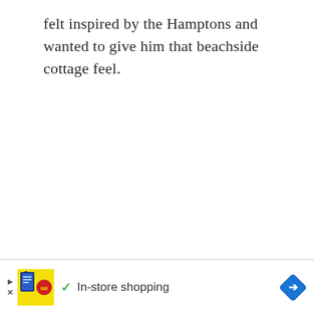felt inspired by the Hamptons and wanted to give him that beachside cottage feel.
[Figure (other): Advertisement banner for Lidl featuring a store logo image, a green checkmark with 'In-store shopping' text, and a blue diamond-shaped arrow icon on the right.]